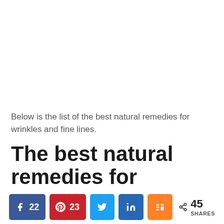Below is the list of the best natural remedies for wrinkles and fine lines.
The best natural remedies for wrinkles
< 45 SHARES | 22 (Facebook) | 23 (Pinterest) | Twitter | LinkedIn | Mix